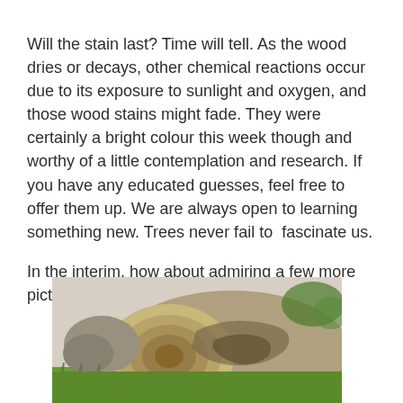Will the stain last? Time will tell. As the wood dries or decays, other chemical reactions occur due to its exposure to sunlight and oxygen, and those wood stains might fade. They were certainly a bright colour this week though and worthy of a little contemplation and research. If you have any educated guesses, feel free to offer them up. We are always open to learning something new. Trees never fail to  fascinate us.
In the interim, how about admiring a few more pictures of a pretty cool wood stain.
[Figure (photo): A photograph of a large cut log section lying on grass, showing cross-section with visible wood grain and staining patterns, with rocks and foliage in the background.]